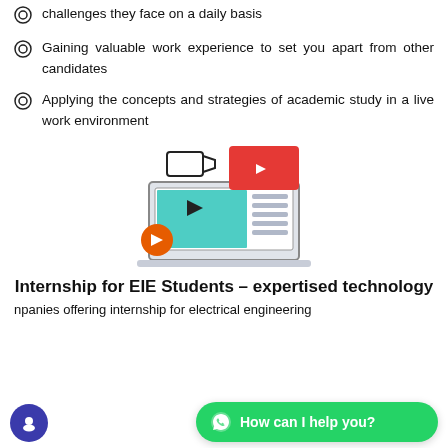challenges they face on a daily basis
Gaining valuable work experience to set you apart from other candidates
Applying the concepts and strategies of academic study in a live work environment
[Figure (illustration): Illustration of a laptop displaying a video player with teal screen and play button, orange play button circle on the left, a camera icon at top, and a red YouTube-style video card at top right]
Internship for EIE Students – expertised technology
npanies offering internship for electrical engineering